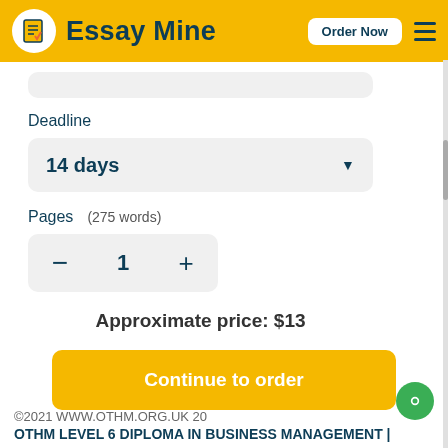Essay Mine  Order Now
Deadline
14 days
Pages   (275 words)
1
Approximate price: $13
Continue to order
©2021 WWW.OTHM.ORG.UK 20
OTHM LEVEL 6 DIPLOMA IN BUSINESS MANAGEMENT |